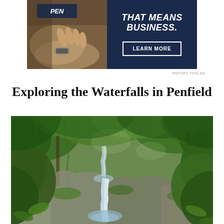[Figure (photo): Advertisement banner with a dark navy right panel showing text 'THAT MEANS BUSINESS.' in white bold italic and a 'LEARN MORE' button, and a left panel showing a person's hands in warm brown tones]
REPORT THIS AD
Exploring the Waterfalls in Penfield
[Figure (photo): Lush green tropical waterfall scene with dense foliage, trees, vines, and a cascading waterfall over rocky terrain]